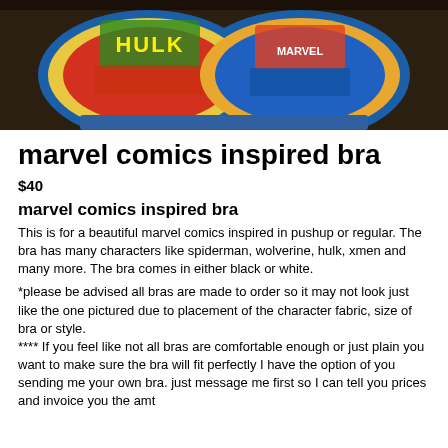[Figure (photo): Photo of a marvel comics inspired bra with Hulk and other Marvel character comic book print fabric, shown from the front against a dark background.]
marvel comics inspired bra
$40
marvel comics inspired bra
This is for a beautiful marvel comics inspired in pushup or regular. The bra has many characters like spiderman, wolverine, hulk, xmen and many more. The bra comes in either black or white.
*please be advised all bras are made to order so it may not look just like the one pictured due to placement of the character fabric, size of bra or style.
**** If you feel like not all bras are comfortable enough or just plain you want to make sure the bra will fit perfectly I have the option of you sending me your own bra. just message me first so I can tell you prices and invoice you the amt